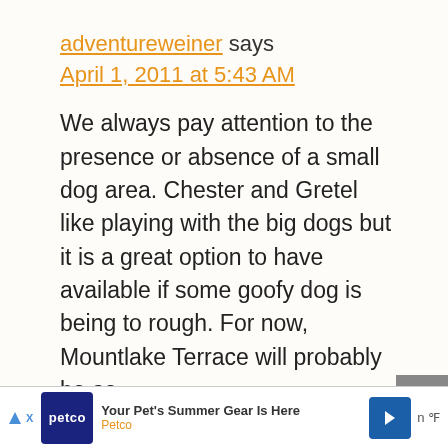adventureweiner says April 1, 2011 at 5:43 AM
We always pay attention to the presence or absence of a small dog area. Chester and Gretel like playing with the big dogs but it is a great option to have available if some goofy dog is being to rough. For now, Mountlake Terrace will probably be as
Your Pet's Summer Gear Is Here Petco